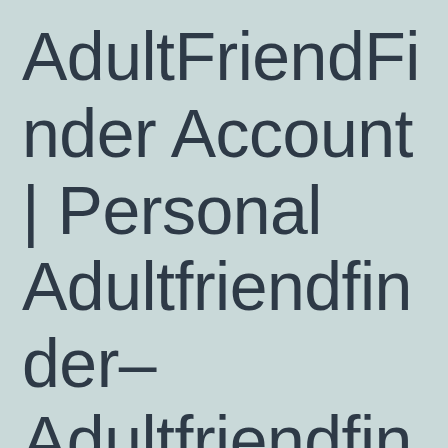AdultFriendFinder Account | Personal Adultfriendfinder– Adultfriendfinder Log on